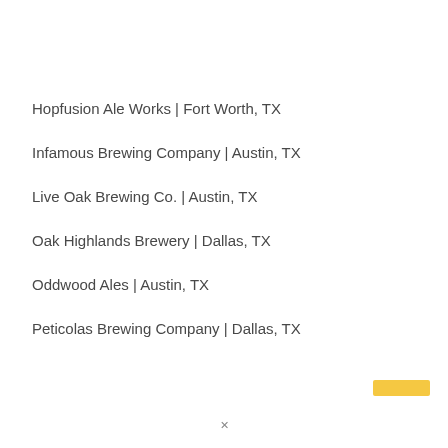Hopfusion Ale Works | Fort Worth, TX
Infamous Brewing Company | Austin, TX
Live Oak Brewing Co. | Austin, TX
Oak Highlands Brewery | Dallas, TX
Oddwood Ales | Austin, TX
Peticolas Brewing Company | Dallas, TX